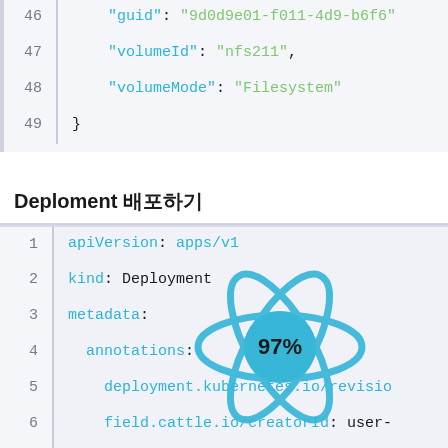[Figure (screenshot): Code block showing lines 46-49 of JSON/YAML config with volumeId and volumeMode fields]
Deploment 배포하기
[Figure (screenshot): Code block showing lines 1-11 of a Kubernetes Deployment YAML with apiVersion, kind, metadata, annotations, creationTimestamp, generation, labels fields. Overlaid with a React logo graphic showing 97% in the center.]